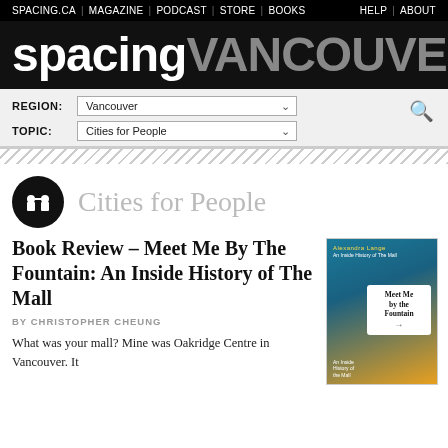SPACING.CA | MAGAZINE | PODCAST | STORE | BOOKS    HELP | ABOUT
spacingVANCOUVER
REGION: Vancouver  TOPIC: Cities for People
Cities for People
Book Review – Meet Me By The Fountain: An Inside History of The Mall
BY CHRISTOPHER CHEUNG
What was your mall? Mine was Oakridge Centre in Vancouver. It
[Figure (illustration): Book cover of 'Meet Me by the Fountain: An Inside History of The Mall' with teal/blue background and white bubble with title text]